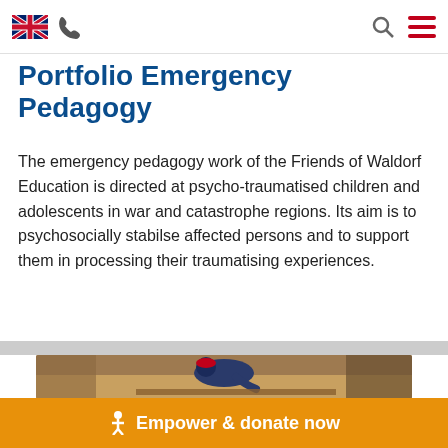UK flag icon, phone icon, search icon, menu icon
Portfolio Emergency Pedagogy
The emergency pedagogy work of the Friends of Waldorf Education is directed at psycho-traumatised children and adolescents in war and catastrophe regions. Its aim is to psychosocially stabilse affected persons and to support them in processing their traumatising experiences.
[Figure (photo): Children working/studying at a table, outdoor setting, one child leaning over a task]
Empower & donate now